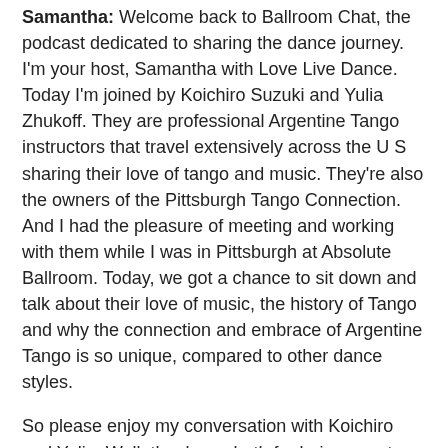Samantha: Welcome back to Ballroom Chat, the podcast dedicated to sharing the dance journey. I'm your host, Samantha with Love Live Dance. Today I'm joined by Koichiro Suzuki and Yulia Zhukoff. They are professional Argentine Tango instructors that travel extensively across the U S sharing their love of tango and music. They're also the owners of the Pittsburgh Tango Connection. And I had the pleasure of meeting and working with them while I was in Pittsburgh at Absolute Ballroom. Today, we got a chance to sit down and talk about their love of music, the history of Tango and why the connection and embrace of Argentine Tango is so unique, compared to other dance styles.
So please enjoy my conversation with Koichiro and Yulia. Well, thank you both for being guests on today's podcast.
Yulia: Thank you so much for having...